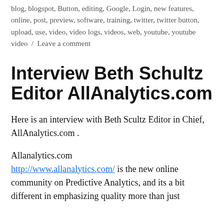blog, blogspot, Button, editing, Google, Login, new features, online, post, preview, software, training, twitter, twitter button, upload, use, video, video logs, videos, web, youtube, youtube video / Leave a comment
Interview Beth Schultz Editor AllAnalytics.com
Here is an interview with Beth Scultz Editor in Chief, AllAnalytics.com .
Allanalytics.com http://www.allanalytics.com/ is the new online community on Predictive Analytics, and its a bit different in emphasizing quality more than just